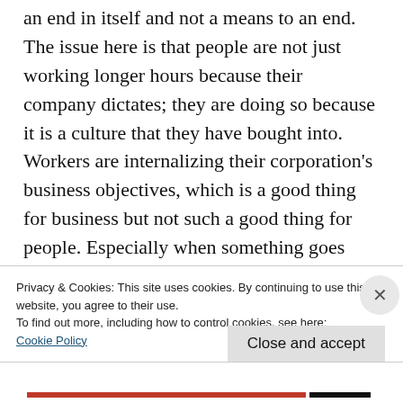an end in itself and not a means to an end. The issue here is that people are not just working longer hours because their company dictates; they are doing so because it is a culture that they have bought into. Workers are internalizing their corporation's business objectives, which is a good thing for business but not such a good thing for people. Especially when something goes pear shaped at work and they have nothing else in their lives to feel good about.
Privacy & Cookies: This site uses cookies. By continuing to use this website, you agree to their use.
To find out more, including how to control cookies, see here: Cookie Policy
Close and accept